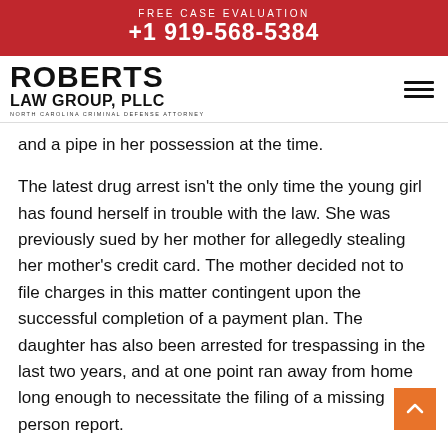FREE CASE EVALUATION +1 919-568-5384
[Figure (logo): Roberts Law Group, PLLC - North Carolina Criminal Defense Attorney logo with hamburger menu icon]
and a pipe in her possession at the time.
The latest drug arrest isn't the only time the young girl has found herself in trouble with the law. She was previously sued by her mother for allegedly stealing her mother's credit card. The mother decided not to file charges in this matter contingent upon the successful completion of a payment plan. The daughter has also been arrested for trespassing in the last two years, and at one point ran away from home long enough to necessitate the filing of a missing person report.